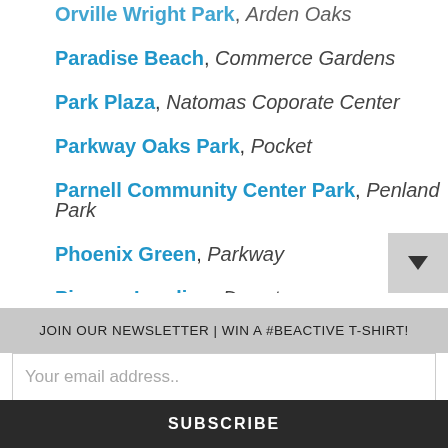Orville Wright Park, Arden Oaks
Paradise Beach, Commerce Gardens
Park Plaza, Natomas Coporate Center
Parkway Oaks Park, Pocket
Parnell Community Center Park, Penland Park
Phoenix Green, Parkway
Pioneer Landing, Downtown
Pocket Canal P, Pocket
Pollack Ranch Park, Parkway
JOIN OUR NEWSLETTER | WIN A #BEACTIVE T-SHIRT!
Your email address..
SUBSCRIBE